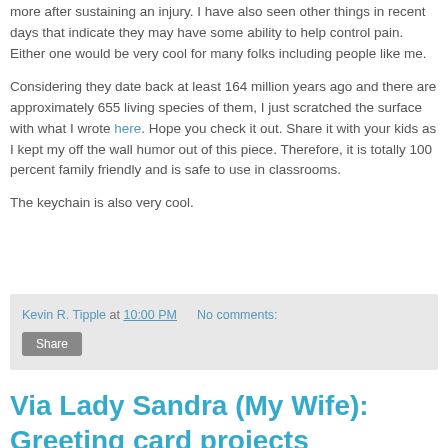more after sustaining an injury. I have also seen other things in recent days that indicate they may have some ability to help control pain. Either one would be very cool for many folks including people like me.
Considering they date back at least 164 million years ago and there are approximately 655 living species of them, I just scratched the surface with what I wrote here. Hope you check it out. Share it with your kids as I kept my off the wall humor out of this piece. Therefore, it is totally 100 percent family friendly and is safe to use in classrooms.
The keychain is also very cool.
Kevin R. Tipple at 10:00 PM   No comments:
Share
Via Lady Sandra (My Wife): Greeting card projects